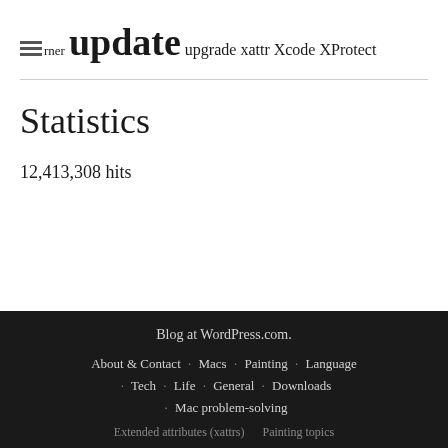turner update upgrade xattr Xcode XProtect
Statistics
12,413,308 hits
Blog at WordPress.com. About & Contact · Macs · Painting · Language · Tech · Life · General · Downloads · Mac problem-solving Extended attributes (xattrs) Painting topics